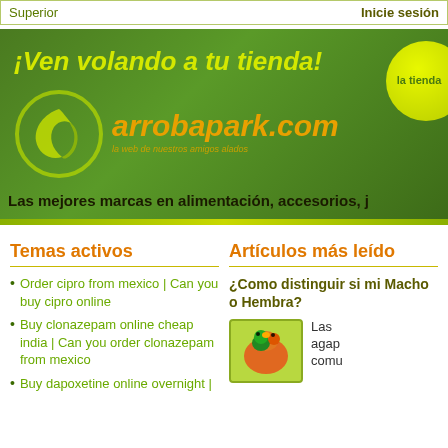Superior | Inicie sesión
[Figure (illustration): arrobapark.com banner ad with green background, bird logo, yellow-green tagline '¡Ven volando a tu tienda!', orange site name 'arrobapark.com', subtitle 'la web de nuestros amigos alados', lime green bubble with 'la tienda', bottom text 'Las mejores marcas en alimentación, accesorios, j']
Temas activos
Order cipro from mexico | Can you buy cipro online
Buy clonazepam online cheap india | Can you order clonazepam from mexico
Buy dapoxetine online overnight |
Artículos más leído
¿Como distinguir si mi Agapornis es Macho o Hembra?
Las agap comu